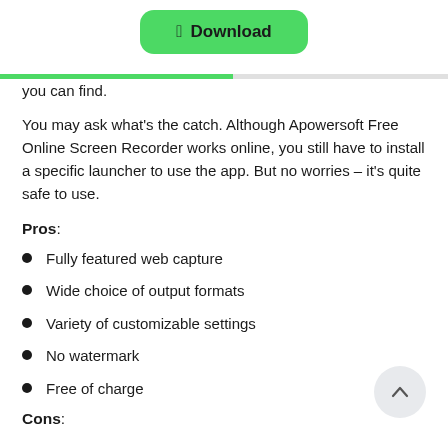[Figure (other): Green rounded download button with Apple logo icon and 'Download' text]
you can find.
You may ask what's the catch. Although Apowersoft Free Online Screen Recorder works online, you still have to install a specific launcher to use the app. But no worries – it's quite safe to use.
Pros:
Fully featured web capture
Wide choice of output formats
Variety of customizable settings
No watermark
Free of charge
Cons: